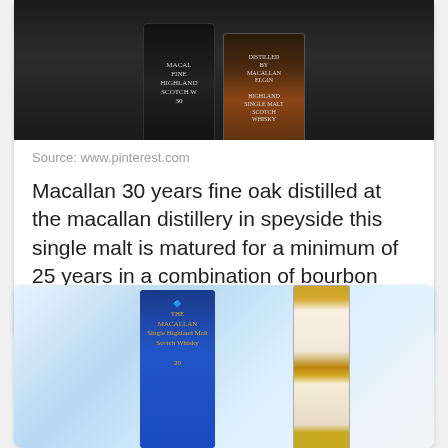[Figure (photo): Dark bottle of Macallan 30 Years Fine Oak Scotch whisky next to another bottle, against dark background]
Source: www.pinterest.com
Macallan 30 years fine oak distilled at the macallan distillery in speyside this single malt is matured for a minimum of 25 years in a combination of bourbon and sherry oak casks.
[Figure (photo): Macallan whisky bottle with blue box packaging, 30 year expression, Highland Single Malt Scotch Whisky]